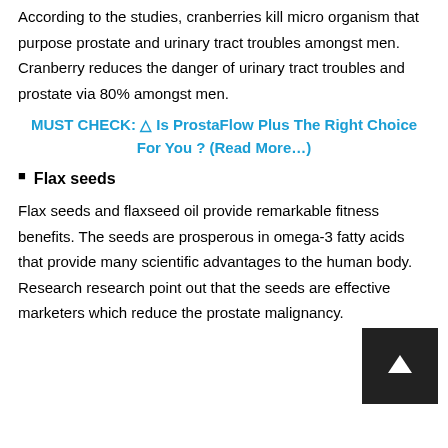According to the studies, cranberries kill micro organism that purpose prostate and urinary tract troubles amongst men. Cranberry reduces the danger of urinary tract troubles and prostate via 80% amongst men.
MUST CHECK: ⚠ Is ProstaFlow Plus The Right Choice For You ? (Read More…)
Flax seeds
Flax seeds and flaxseed oil provide remarkable fitness benefits. The seeds are prosperous in omega-3 fatty acids that provide many scientific advantages to the human body. Research research point out that the seeds are effective marketers which reduce the prostate malignancy.